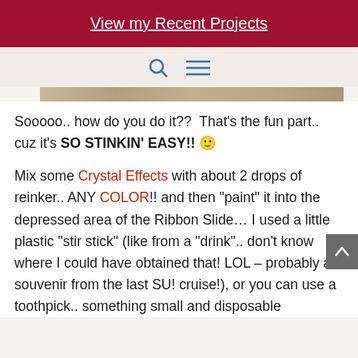View my Recent Projects
[Figure (screenshot): Navigation icons: search (magnifying glass) and hamburger menu in blue on beige background]
[Figure (photo): Partial image strip showing a tan/beige colored surface]
Sooooo.. how do you do it??  That's the fun part.. cuz it's SO STINKIN' EASY!! 🙂
Mix some Crystal Effects with about 2 drops of reinker.. ANY COLOR!! and then "paint" it into the depressed area of the Ribbon Slide… I used a little plastic "stir stick" (like from a "drink".. don't know where I could have obtained that! LOL – probably a souvenir from the last SU! cruise!), or you can use a toothpick.. something small and disposable